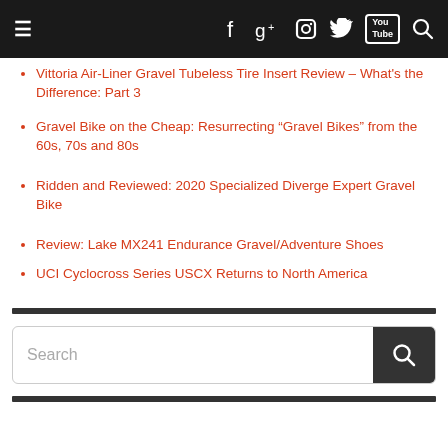Navigation bar with hamburger menu and social icons: Facebook, Google+, Instagram, Twitter, YouTube, Search
Vittoria Air-Liner Gravel Tubeless Tire Insert Review – What's the Difference: Part 3
Gravel Bike on the Cheap: Resurrecting “Gravel Bikes” from the 60s, 70s and 80s
Ridden and Reviewed: 2020 Specialized Diverge Expert Gravel Bike
Review: Lake MX241 Endurance Gravel/Adventure Shoes
UCI Cyclocross Series USCX Returns to North America